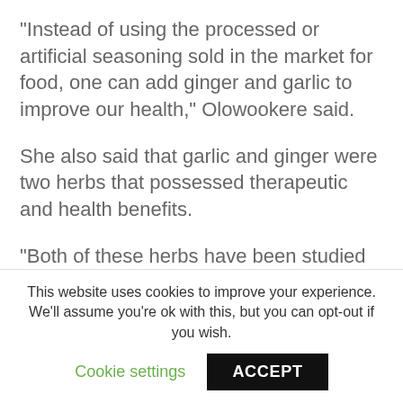“Instead of using the processed or artificial seasoning sold in the market for food, one can add ginger and garlic to improve our health,” Olowookere said.
She also said that garlic and ginger were two herbs that possessed therapeutic and health benefits.
“Both of these herbs have been studied for their effectiveness in fighting infections, preventing cancer, reducing inflammation and various other applications.
“Garlic is known to have antifungal, antiviral and antibacterial properties and both garlic and ginger are...
This website uses cookies to improve your experience. We’ll assume you’re ok with this, but you can opt-out if you wish.
Cookie settings
ACCEPT